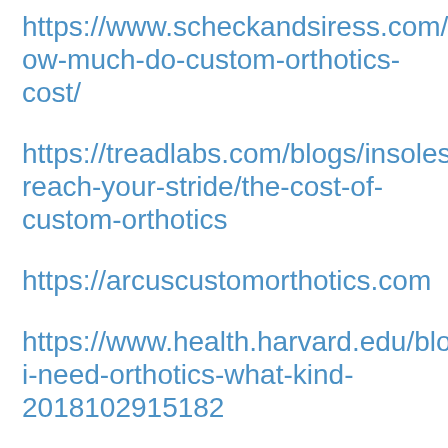https://www.scheckandsiress.com/blog/how-much-do-custom-orthotics-cost/
https://treadlabs.com/blogs/insoles-reach-your-stride/the-cost-of-custom-orthotics
https://arcuscustomorthotics.com
https://www.health.harvard.edu/blog/do-i-need-orthotics-what-kind-2018102915182
https://www.apma.org/orthotics
https://www.footlevelers.com/products/cu